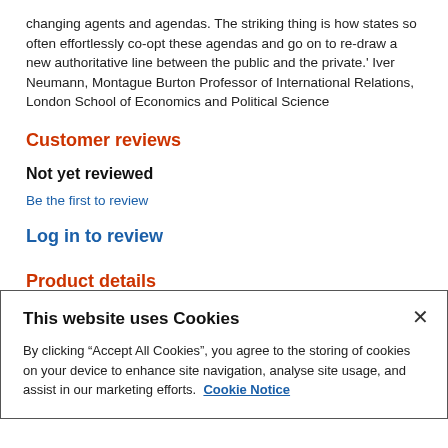changing agents and agendas. The striking thing is how states so often effortlessly co-opt these agendas and go on to re-draw a new authoritative line between the public and the private.' Iver Neumann, Montague Burton Professor of International Relations, London School of Economics and Political Science
Customer reviews
Not yet reviewed
Be the first to review
Log in to review
Product details
This website uses Cookies
By clicking “Accept All Cookies”, you agree to the storing of cookies on your device to enhance site navigation, analyse site usage, and assist in our marketing efforts.  Cookie Notice